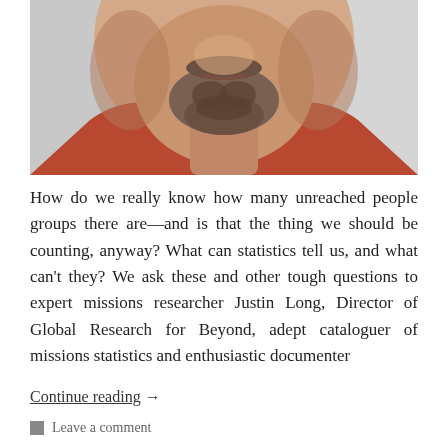[Figure (photo): Close-up photo of a man's face, cropped showing from the nose down. He has a goatee/beard, wearing a red/rust colored jacket over a dark shirt. Background is grey/neutral.]
How do we really know how many unreached people groups there are—and is that the thing we should be counting, anyway? What can statistics tell us, and what can't they? We ask these and other tough questions to expert missions researcher Justin Long, Director of Global Research for Beyond, adept cataloguer of missions statistics and enthusiastic documenter
Continue reading  →
Leave a comment